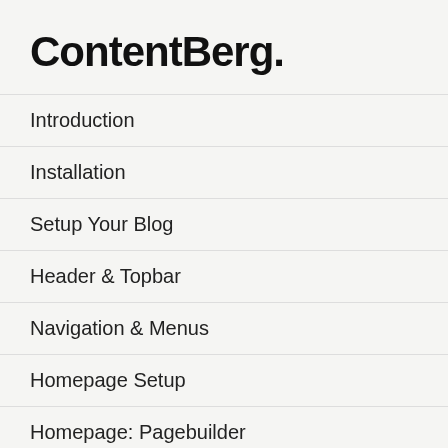ContentBerg.
Introduction
Installation
Setup Your Blog
Header & Topbar
Navigation & Menus
Homepage Setup
Homepage: Pagebuilder
Setup Categories
Adding Posts
Need more help or guidance? Check Frequently Asked Questions or register and use our Support Forums. ×
if you wish to